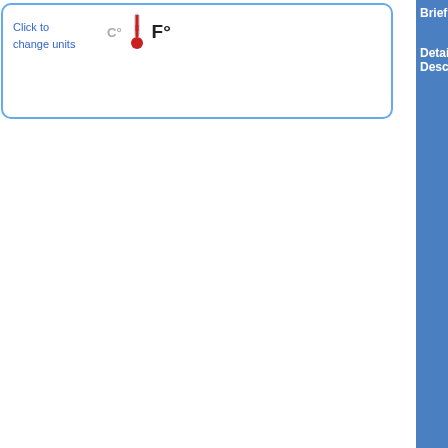[Figure (screenshot): Temperature unit toggle widget with thermometer icon showing C/F with click to change units text]
| Brief Description | SPECIAL WEATHER STATEMENT |
| --- | --- |
| Detailed Description | 7:14 PM EDT Monday 22 August 2022 weather statement in effect for: Pickering Southern Durham Region Locally heavy rain continues this evening. Slow-moving s... thunderstorms with local rainfall amou... mm are expected into this evening. Up... Rainfall Warnings may be required. H... downpours can cause water pooling o... Localized flooding in low-lying and urb... possible. For information concerning f... consult your local Conservation Autho... Ministry of Northern Development, Mi... Resources and Forestry office. Visit C... for the latest details. Please continue ... and forecasts issued by Environment ... report severe weather, send an email ... ONstorm@ec.gc.ca or tweet reports u... #ONStorm. |
All Alerts
| Region | Alert |
| --- | --- |
| Virginia | Seve... |
| Utah | Seve... |
| Arizona | Seve... |
| Texas | Flas... |
| Pennsylvania | Flas... |
| New Mexico | Flas... |
| Maryland | Flas... |
| Colorado | Flas... |
| Arizona | Flas... |